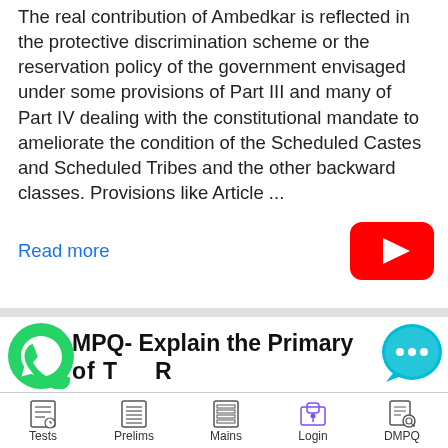The real contribution of Ambedkar is reflected in the protective discrimination scheme or the reservation policy of the government envisaged under some provisions of Part III and many of Part IV dealing with the constitutional mandate to ameliorate the condition of the Scheduled Castes and Scheduled Tribes and the other backward classes. Provisions like Article ...
Read more
[Figure (logo): YouTube play button logo in red]
[Figure (logo): WhatsApp green phone icon]
MPQ- Explain the Primary
[Figure (logo): Chat/messaging bubble icon in teal/cyan]
Tests   Prelims   Mains   Login   DMPQ